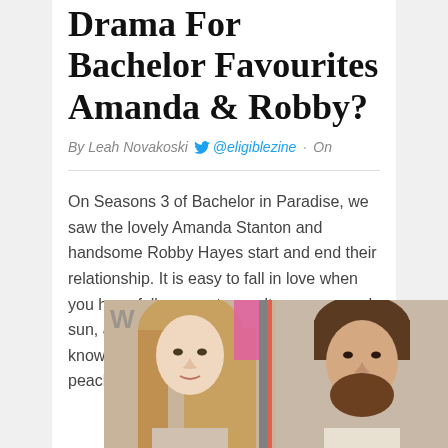Drama For Bachelor Favourites Amanda & Robby?
By Leah Novakoski  @eligiblezine  · On
On Seasons 3 of Bachelor in Paradise, we saw the lovely Amanda Stanton and handsome Robby Hayes start and end their relationship. It is easy to fall in love when you have full access to a salty ocean, sand, sun, and yummy cocktails. But as we all know life in paradise is not exactly always peachy. It really is a total drama island.
[Figure (photo): Photo of Amanda Stanton and Robby Hayes side by side]